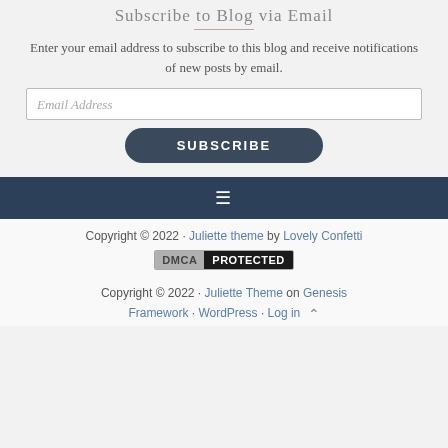Subscribe to Blog via Email
Enter your email address to subscribe to this blog and receive notifications of new posts by email.
Email Address
SUBSCRIBE
[Figure (other): Navigation hamburger menu icon (three horizontal lines) on a dark navy background bar]
Copyright © 2022 · Juliette theme by Lovely Confetti
DMCA PROTECTED
Copyright © 2022 · Juliette Theme on Genesis Framework · WordPress · Log in